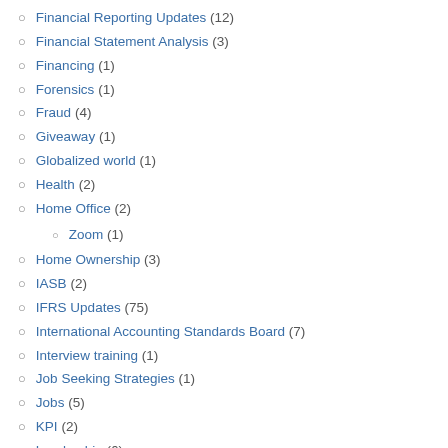Financial Reporting Updates (12)
Financial Statement Analysis (3)
Financing (1)
Forensics (1)
Fraud (4)
Giveaway (1)
Globalized world (1)
Health (2)
Home Office (2)
Zoom (1)
Home Ownership (3)
IASB (2)
IFRS Updates (75)
International Accounting Standards Board (7)
Interview training (1)
Job Seeking Strategies (1)
Jobs (5)
KPI (2)
Leadership (6)
liquidity facility (1)
M&A (1)